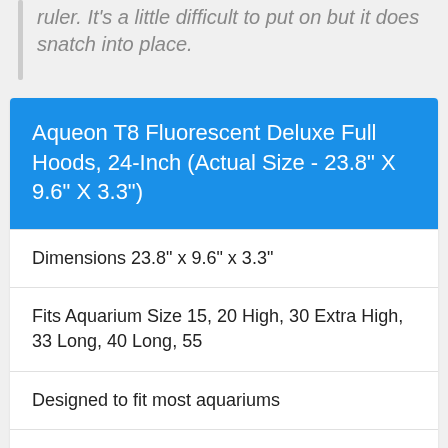ruler. It's a little difficult to put on but it does snatch into place.
Aqueon T8 Fluorescent Deluxe Full Hoods, 24-Inch (Actual Size - 23.8" X 9.6" X 3.3")
Dimensions 23.8" x 9.6" x 3.3"
Fits Aquarium Size 15, 20 High, 30 Extra High, 33 Long, 40 Long, 55
Designed to fit most aquariums
T8 Lamp and splash guard included / Fits tightly inside aquarium rim